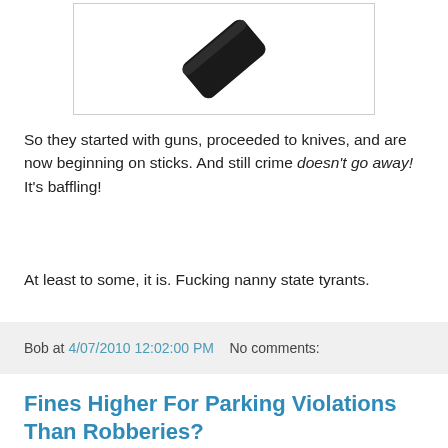[Figure (photo): A dark stick or baton object on a white background, shown at an angle, inside a bordered box.]
So they started with guns, proceeded to knives, and are now beginning on sticks. And still crime doesn't go away! It's baffling!
At least to some, it is. Fucking nanny state tyrants.
Bob at 4/07/2010 12:02:00 PM   No comments:
Fines Higher For Parking Violations Than Robberies?
Looks like it.
The story can also be found here, Walt. ;) Admittedly this is